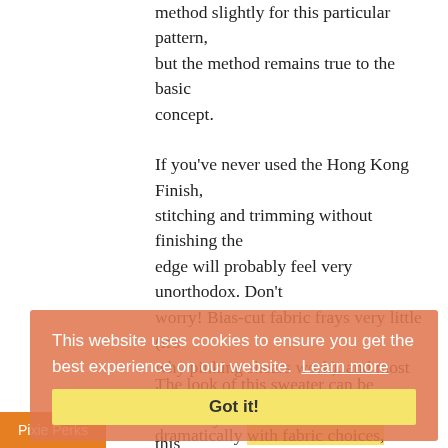method slightly for this particular pattern, but the method remains true to the basic concept.

If you've never used the Hong Kong Finish, stitching and trimming without finishing the edge will probably feel very unorthodox. Don't worry! Bias-cut fabric frays very little (it's why pinking shears work), and most knits don't fray at all. I promise you'll love this finish once you've tried it: it's an easy, elegant solution that goes together quickly, reduces bulk, and can be made from the same fabric used for the bodice.
This website uses cookies to ensure you get the best experience on our website.  Learn more
Got it!
The look of this sweater can be changed dramatically with fabric choices, sleeve length, neck style, and contrasting (or not)
Pixie Perks